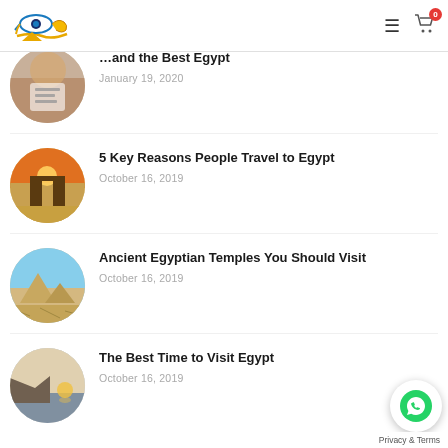Egypt travel blog navigation header with logo and cart icon (0 items)
...and the best Egypt
January 19, 2020
5 Key Reasons People Travel to Egypt
October 16, 2019
Ancient Egyptian Temples You Should Visit
October 16, 2019
The Best Time to Visit Egypt
October 16, 2019